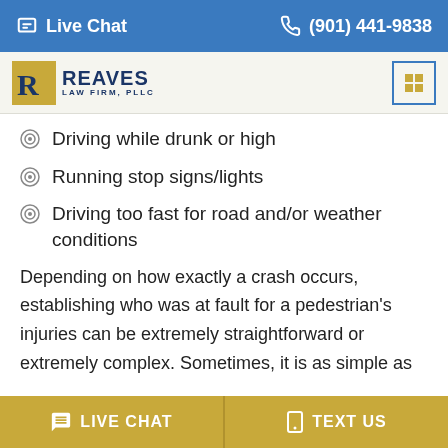Live Chat | (901) 441-9838
[Figure (logo): Reaves Law Firm, PLLC logo with golden R emblem and blue text]
Driving while drunk or high
Running stop signs/lights
Driving too fast for road and/or weather conditions
Depending on how exactly a crash occurs, establishing who was at fault for a pedestrian's injuries can be extremely straightforward or extremely complex. Sometimes, it is as simple as
LIVE CHAT | TEXT US